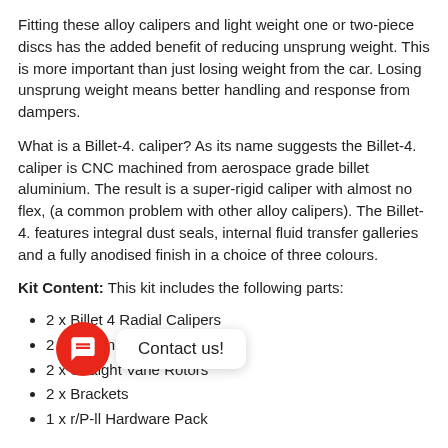Fitting these alloy calipers and light weight one or two-piece discs has the added benefit of reducing unsprung weight. This is more important than just losing weight from the car. Losing unsprung weight means better handling and response from dampers.
What is a Billet-4. caliper? As its name suggests the Billet-4. caliper is CNC machined from aerospace grade billet aluminium. The result is a super-rigid caliper with almost no flex, (a common problem with other alloy calipers). The Billet-4. features integral dust seals, internal fluid transfer galleries and a fully anodised finish in a choice of three colours.
Kit Content: This kit includes the following parts:
2 x Billet 4 Radial Calipers
2 x Aluminium Bells
2 x Straight Vane Rotors
2 x Brackets
1 x r/P-ll Hardware Pack
ke
1 x EBC Standard Road Pads (Upgradeable)
1 x Dot 5.1 Brake Fluid